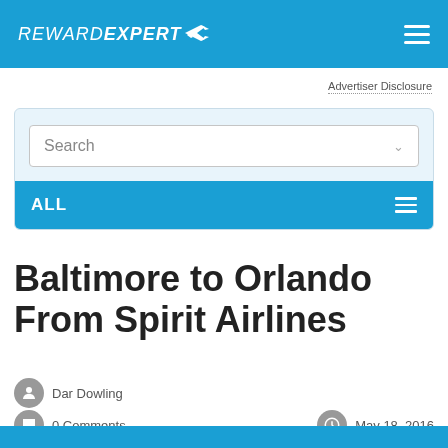REWARDEXPERT
Advertiser Disclosure
Search
ALL
Baltimore to Orlando From Spirit Airlines
Dar Dowling
0 Comments
May 18, 2016